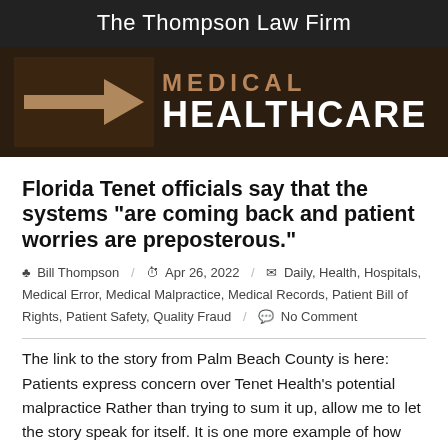The Thompson Law Firm
[Figure (photo): Dark brown background with a large arrow sign and the words MEDICAL HEALTHCARE in bold text]
Florida Tenet officials say that the systems “are coming back and patient worries are preposterous.”
♟ Bill Thompson / ⏰ Apr 26, 2022 / 🏷 Daily, Health, Hospitals, Medical Error, Medical Malpractice, Medical Records, Patient Bill of Rights, Patient Safety, Quality Fraud / 💬 No Comment
The link to the story from Palm Beach County is here: Patients express concern over Tenet Health’s potential malpractice Rather than trying to sum it up, allow me to let the story speak for itself. It is one more example of how patients are treated as simple objects, vehicles for the healthcare system to [...]